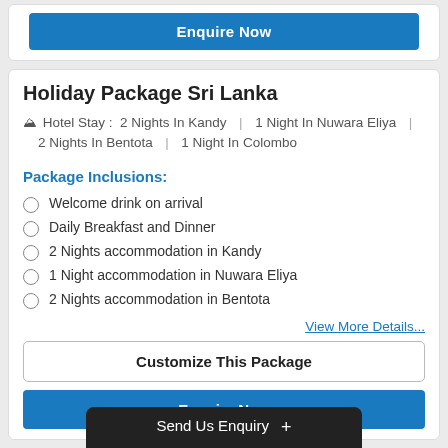Enquire Now
Holiday Package Sri Lanka
Hotel Stay : 2 Nights In Kandy | 1 Night In Nuwara Eliya | 2 Nights In Bentota | 1 Night In Colombo
Package Inclusions:
Welcome drink on arrival
Daily Breakfast and Dinner
2 Nights accommodation in Kandy
1 Night accommodation in Nuwara Eliya
2 Nights accommodation in Bentota
View More Details...
Customize This Package
Enquire Now
Send Us Enquiry +